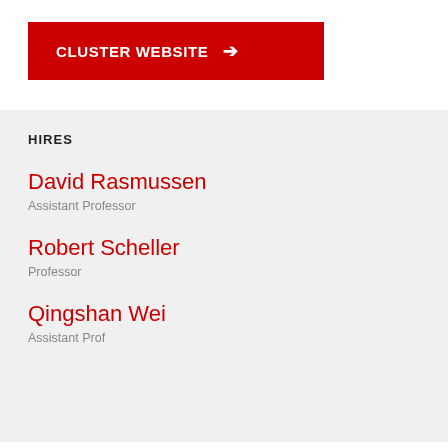[Figure (other): Red button labeled CLUSTER WEBSITE with a right arrow]
HIRES
David Rasmussen
Assistant Professor
Robert Scheller
Professor
Qingshan Wei
Assistant Professor